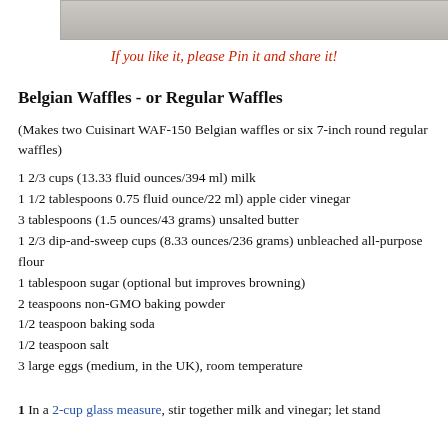[Figure (photo): Partial image of Belgian waffles at the top of the page]
If you like it, please Pin it and share it!
Belgian Waffles - or Regular Waffles
(Makes two Cuisinart WAF-150 Belgian waffles or six 7-inch round regular waffles)
1 2/3 cups (13.33 fluid ounces/394 ml) milk
1 1/2 tablespoons 0.75 fluid ounce/22 ml) apple cider vinegar
3 tablespoons (1.5 ounces/43 grams) unsalted butter
1 2/3 dip-and-sweep cups (8.33 ounces/236 grams) unbleached all-purpose flour
1 tablespoon sugar (optional but improves browning)
2 teaspoons non-GMO baking powder
1/2 teaspoon baking soda
1/2 teaspoon salt
3 large eggs (medium, in the UK), room temperature
1 In a 2-cup glass measure, stir together milk and vinegar; let stand